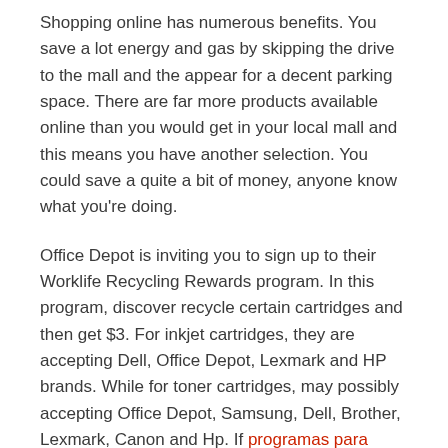Shopping online has numerous benefits. You save a lot energy and gas by skipping the drive to the mall and the appear for a decent parking space. There are far more products available online than you would get in your local mall and this means you have another selection. You could save a quite a bit of money, anyone know what you're doing.
Office Depot is inviting you to sign up to their Worklife Recycling Rewards program. In this program, discover recycle certain cartridges and then get $3. For inkjet cartridges, they are accepting Dell, Office Depot, Lexmark and HP brands. While for toner cartridges, may possibly accepting Office Depot, Samsung, Dell, Brother, Lexmark, Canon and Hp. If programas para...